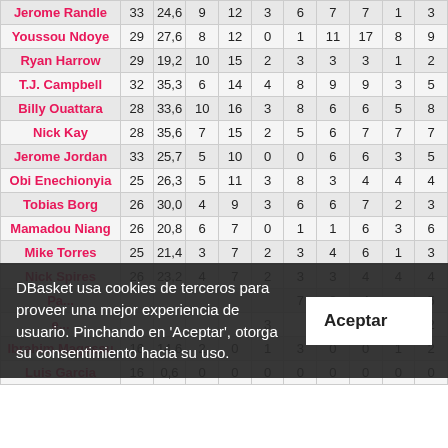| Jugador | PJ | Min | T2 | T3 | TL | RD | RT | AS | ? | ? |
| --- | --- | --- | --- | --- | --- | --- | --- | --- | --- | --- |
| Jerome Randle | 33 | 24,6 | 9 | 12 | 3 | 6 | 7 | 7 | 1 | 3 |
| Youssou Ndoye | 29 | 27,6 | 8 | 12 | 0 | 1 | 11 | 17 | 8 | 9 |
| Ryan Harrow | 29 | 19,2 | 10 | 15 | 2 | 3 | 3 | 3 | 1 | 2 |
| T.J. Campbell | 32 | 35,3 | 6 | 14 | 4 | 8 | 9 | 9 | 3 | 5 |
| Billy Ouattara | 28 | 33,6 | 10 | 16 | 3 | 8 | 6 | 6 | 5 | 8 |
| Nick Kay | 28 | 35,6 | 7 | 15 | 2 | 5 | 6 | 7 | 7 | 7 |
| Jerome Jordan | 33 | 25,7 | 5 | 10 | 0 | 0 | 6 | 6 | 3 | 5 |
| Obi Enechionyia | 25 | 26,3 | 5 | 11 | 3 | 8 | 3 | 4 | 4 | 4 |
| Tobias Borg | 26 | 30,0 | 4 | 9 | 3 | 6 | 6 | 7 | 2 | 3 |
| Mamadou Niang | 26 | 20,8 | 6 | 7 | 0 | 1 | 1 | 6 | 3 | 6 |
| Mike Torres | 25 | 21,4 | 3 | 7 | 2 | 3 | 4 | 6 | 1 | 3 |
| Nick Spires | 26 | 23,2 | 4 | 7 | 2 | 3 | 3 | 4 | 4 | 4 |
| Pa... |  |  |  |  |  | 7 | 8 | 4 | 5 |  |
| e... |  |  |  |  | 3 |  | 2 | 2 |  | 2 |
| Ibrahim Magassu | 16 | 14,6 | 2 | 0 | 1 | 3 | 0 | 0 | 1 | 2 |
| Luis Garcia | 16 | 0,6 | 0 | 0 | 0 | 0 | 0 | 0 | 0 | 0 |
DBasket usa cookies de terceros para proveer una mejor experiencia de usuario. Pinchando en 'Aceptar', otorga su consentimiento hacia su uso.